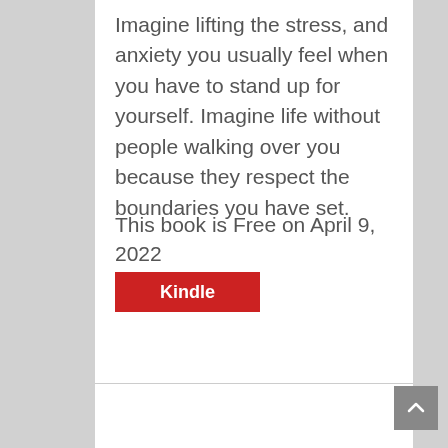Imagine lifting the stress, and anxiety you usually feel when you have to stand up for yourself. Imagine life without people walking over you because they respect the boundaries you have set.
This book is Free on April 9, 2022
[Figure (other): Red Kindle button]